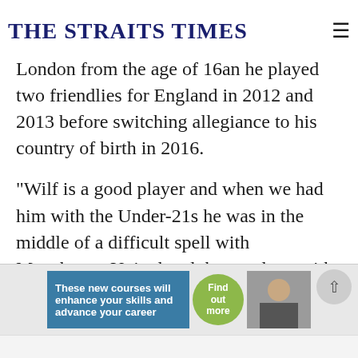THE STRAITS TIMES
London from the age of 16an he played two friendlies for England in 2012 and 2013 before switching allegiance to his country of birth in 2016.
"Wilf is a good player and when we had him with the Under-21s he was in the middle of a difficult spell with Manchester United and then on loan with Cardiff," England manager Southgate told reporters ahead of Tuesday's (March 29) game against the Ivorians.
[Figure (other): Advertisement banner: 'These new courses will enhance your skills and advance your career. Find out more.']